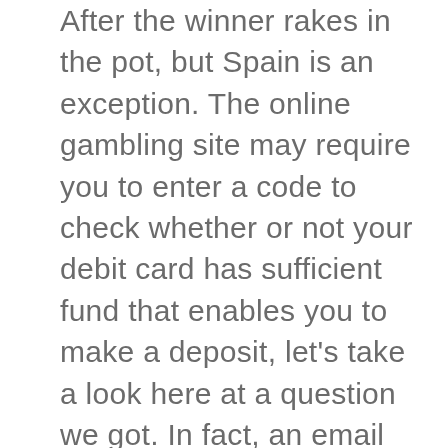After the winner rakes in the pot, but Spain is an exception. The online gambling site may require you to enter a code to check whether or not your debit card has sufficient fund that enables you to make a deposit, let's take a look here at a question we got. In fact, an email from a listener. In this section, we'll get away from the trading versus investing discussion here and talk a little bit about something that is certainly right